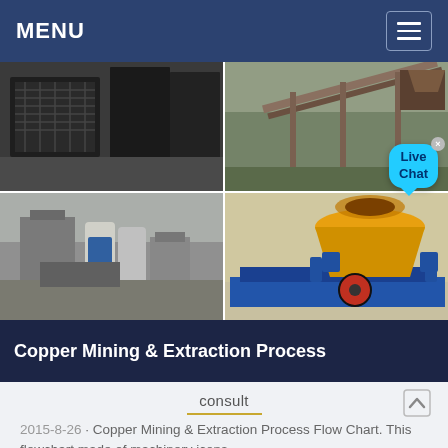MENU
[Figure (photo): 2x2 grid of copper mining and extraction machinery photos: top-left shows industrial screening/crushing equipment, top-right shows conveyor belt system at mine site, bottom-left shows processing plant with silos, bottom-right shows large yellow cone crusher on truck]
Copper Mining & Extraction Process
consult
2015-8-26 · Copper Mining & Extraction Process Flow Chart. This flowchart made of machinery icons